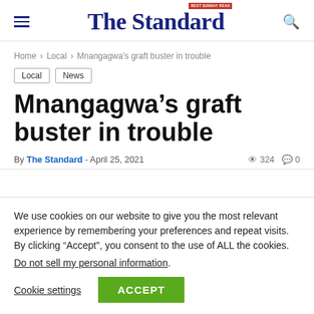The Standard
Home > Local > Mnangagwa's graft buster in trouble
Local
News
Mnangagwa's graft buster in trouble
By The Standard - April 25, 2021   324  0
We use cookies on our website to give you the most relevant experience by remembering your preferences and repeat visits. By clicking “Accept”, you consent to the use of ALL the cookies.
Do not sell my personal information.
Cookie settings   ACCEPT